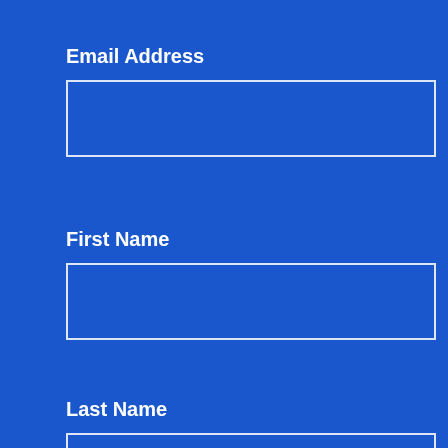Email Address
[Figure (other): Empty email address input field with white border on blue background]
First Name
[Figure (other): Empty first name input field with white border on blue background]
Last Name
[Figure (other): Empty last name input field with white border on blue background]
[Figure (other): Green button partially visible at bottom of page]